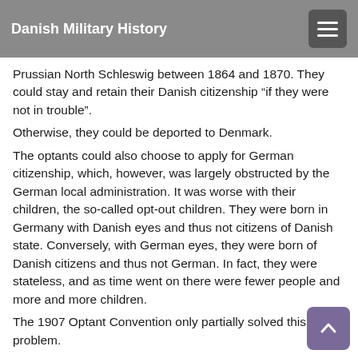Danish Military History
Prussian North Schleswig between 1864 and 1870. They could stay and retain their Danish citizenship “if they were not in trouble”.
Otherwise, they could be deported to Denmark.
The optants could also choose to apply for German citizenship, which, however, was largely obstructed by the German local administration. It was worse with their children, the so-called opt-out children. They were born in Germany with Danish eyes and thus not citizens of Danish state. Conversely, with German eyes, they were born of Danish citizens and thus not German. In fact, they were stateless, and as time went on there were fewer people and more and more children.
The 1907 Optant Convention only partially solved this problem.
To prepare for a long-standing nationality struggle, the Danish movement organized from the 1880s into a number